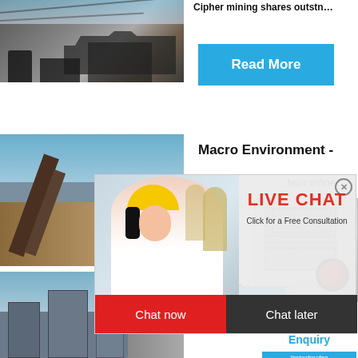[Figure (photo): Mining/heavy machinery photo, top left]
Cipher mining shares outst…
Read More
[Figure (photo): Mining conveyor/processing photo, middle left]
Macro Environment -
hour online
[Figure (photo): Live chat popup with worker in hard hat]
LIVE CHAT
Click for a Free Consultation
Chat now
Chat later
Read
[Figure (photo): Crusher/jaw crusher machine image]
Click me to chat>>
Enquiry
limingjlmofen
[Figure (photo): Mining facility photo, bottom left]
Mining Size 20…